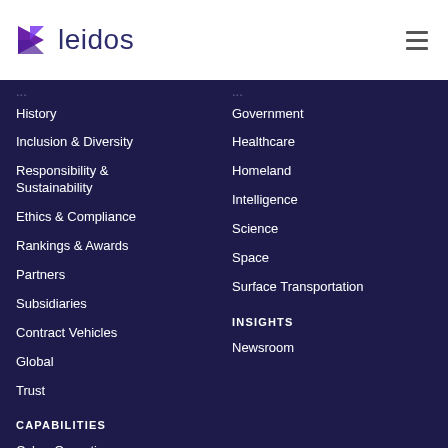[Figure (logo): Leidos logo with purple arrow/triangle icon and 'leidos' wordmark in dark navy]
History
Inclusion & Diversity
Responsibility & Sustainability
Ethics & Compliance
Rankings & Awards
Partners
Subsidiaries
Contract Vehicles
Global
Trust
Government
Healthcare
Homeland
Intelligence
Science
Space
Surface Transportation
CAPABILITIES
Cyber Operations
Digital Modernization
INSIGHTS
Newsroom